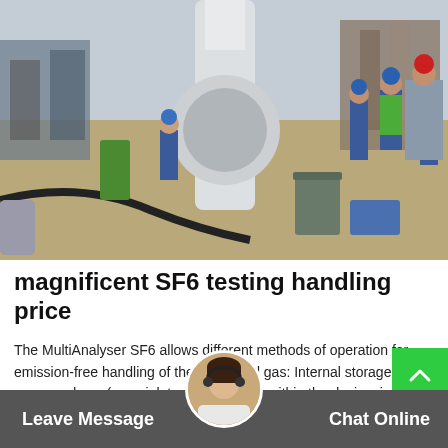[Figure (photo): Workers in blue coveralls and hard hats at an industrial facility with large pipe/transformer equipment. One worker in a green safety vest and a person in a red hard hat are visible on the right. Industrial machinery and cables visible in background.]
magnificent SF6 testing handling price
The MultiAnalyser SF6 allows different methods of operation for emission-free handling of the measured gas: Internal storage of measured gas (max. inlet pressure type) within the device, in an external cylinder or an external gas collecting bag.